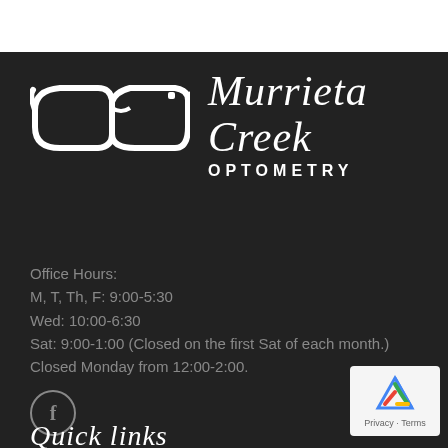[Figure (logo): Murrieta Creek Optometry logo with white eyeglasses silhouette and brand name in script font with OPTOMETRY in spaced capitals]
Office Hours:
M, T, Th, F: 9:00-5:30
Wed: 10:00-6:30
Sat: 9:00-1:00 (Closed on the first Sat of each month.)
Closed Monday from 12:00-2:00.
[Figure (illustration): Facebook icon - circular button with letter f]
Quick links